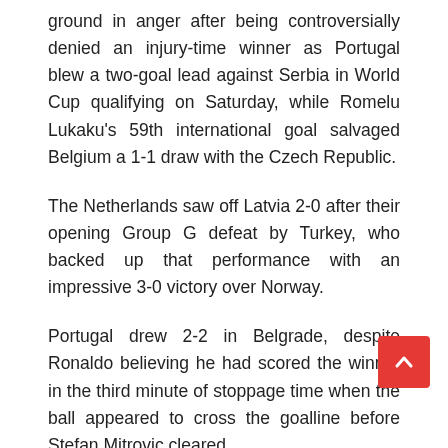ground in anger after being controversially denied an injury-time winner as Portugal blew a two-goal lead against Serbia in World Cup qualifying on Saturday, while Romelu Lukaku's 59th international goal salvaged Belgium a 1-1 draw with the Czech Republic.
The Netherlands saw off Latvia 2-0 after their opening Group G defeat by Turkey, who backed up that performance with an impressive 3-0 victory over Norway.
Portugal drew 2-2 in Belgrade, despite Ronaldo believing he had scored the winner in the third minute of stoppage time when the ball appeared to cross the goalline before Stefan Mitrovic cleared.
But without technology in use, the goal was not awarded and a fuming Ronaldo was then booked for his protes…
At the final whistle he stormed from the pitch, throwing…